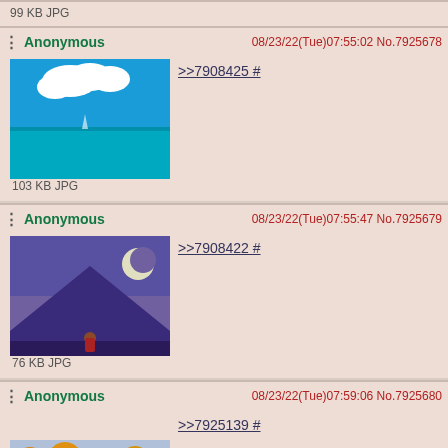99 KB JPG
Anonymous 08/23/22(Tue)07:55:02 No.7925678
[Figure (photo): Thumbnail of man at sea with clouds]
103 KB JPG
>>7908425 #
Anonymous 08/23/22(Tue)07:55:47 No.7925679
[Figure (photo): Thumbnail of mountain with moon]
76 KB JPG
>>7908422 #
Anonymous 08/23/22(Tue)07:59:06 No.7925680
[Figure (photo): Thumbnail of autumn trees]
>>7925139 #